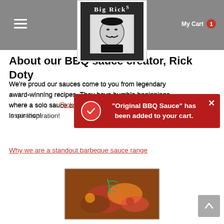Big Rick's - website header with logo, hamburger menu, and My Cart 1
About our BBQ sauce creator, Rick Doty
We're proud our sauces come to you from legendary award-winning recipes. They have humble beginnings where a solo sauce creator with the name of Rick Doty is our inspiration!
Why we are a standout barbeque sauce range
[Figure (screenshot): Notification popup: checkmark icon with text '"Original BBQ Sauce" has been added to your cart.' and a close X button, on a red background]
[Figure (photo): Food photo showing grilled vegetables with herbs in a white-bordered square frame]